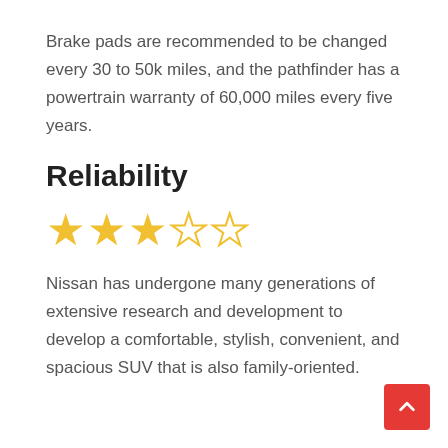Brake pads are recommended to be changed every 30 to 50k miles, and the pathfinder has a powertrain warranty of 60,000 miles every five years.
Reliability
[Figure (other): 3 filled gold stars and 2 empty gold star outlines representing a 3 out of 5 star reliability rating]
Nissan has undergone many generations of extensive research and development to develop a comfortable, stylish, convenient, and spacious SUV that is also family-oriented.